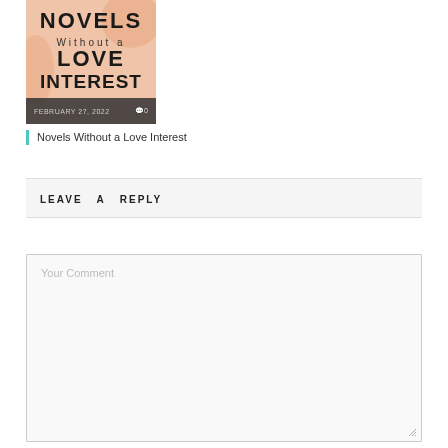[Figure (illustration): Book cover image with peach/salmon background showing text: NOVELS Without a LOVE INTEREST, with decorative shapes]
FEBRUARY 27, 2022   ◎0
Novels Without a Love Interest
LEAVE  A  REPLY
Your Comment